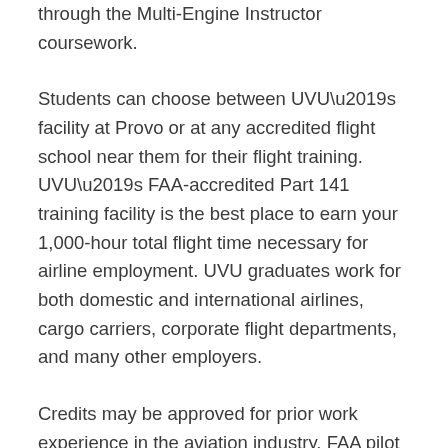through the Multi-Engine Instructor coursework.
Students can choose between UVU’s facility at Provo or at any accredited flight school near them for their flight training. UVU’s FAA-accredited Part 141 training facility is the best place to earn your 1,000-hour total flight time necessary for airline employment. UVU graduates work for both domestic and international airlines, cargo carriers, corporate flight departments, and many other employers.
Credits may be approved for prior work experience in the aviation industry, FAA pilot certificates and ratings, and previous college